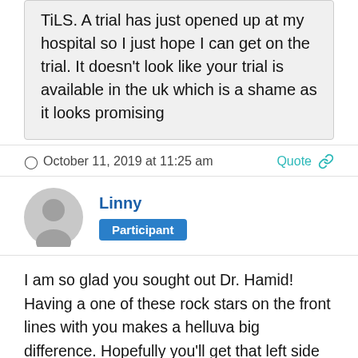TiLS. A trial has just opened up at my hospital so I just hope I can get on the trial. It doesn't look like your trial is available in the uk which is a shame as it looks promising
October 11, 2019 at 11:25 am
Quote
Linny
Participant
I am so glad you sought out Dr. Hamid! Having a one of these rock stars on the front lines with you makes a helluva big difference. Hopefully you'll get that left side tumor out soon. Praying that the Opdivo is working its magic on that nasty Sigmoid thingie. Besides, whatever the Opdivo may have missed, this new bug juice may just finish off for you